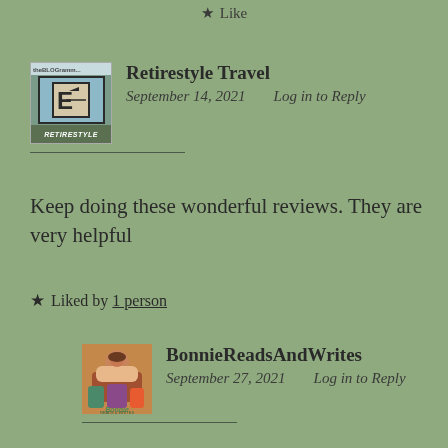★ Like
Retirestyle Travel
September 14, 2021    Log in to Reply
Keep doing these wonderful reviews. They are very helpful
★ Liked by 1 person
BonnieReadsAndWrites
September 27, 2021    Log in to Reply